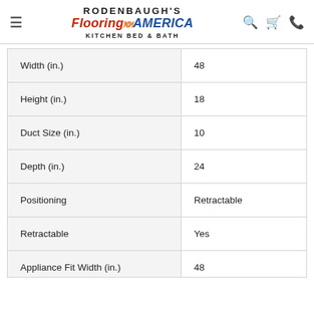RODENBAUGH'S Flooring AMERICA KITCHEN BED & BATH
| Width (in.) | 48 |
| Height (in.) | 18 |
| Duct Size (in.) | 10 |
| Depth (in.) | 24 |
| Positioning | Retractable |
| Retractable | Yes |
| Appliance Fit Width (in.) | 48 |